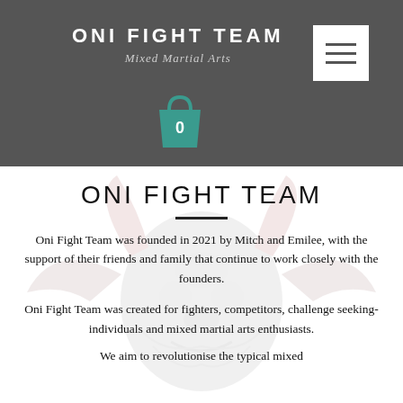ONI FIGHT TEAM
Mixed Martial Arts
[Figure (illustration): Shopping bag cart icon with number 0 in teal color]
[Figure (illustration): Oni demon mask / warrior illustration in gray and pink tones as background watermark]
ONI FIGHT TEAM
Oni Fight Team was founded in 2021 by Mitch and Emilee, with the support of their friends and family that continue to work closely with the founders.
Oni Fight Team was created for fighters, competitors, challenge seeking-individuals and mixed martial arts enthusiasts.
We aim to revolutionise the typical mixed